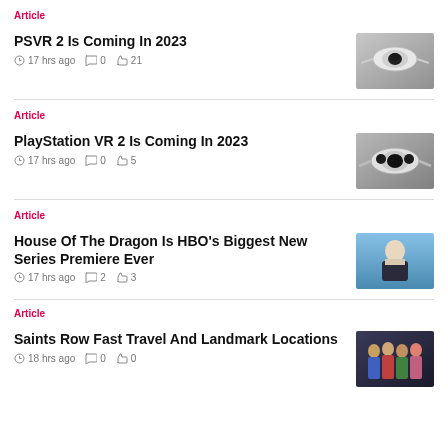Article
PSVR 2 Is Coming In 2023
17 hrs ago  0  21
[Figure (photo): PSVR 2 headset floating on grey background]
Article
PlayStation VR 2 Is Coming In 2023
17 hrs ago  0  5
[Figure (photo): PlayStation VR 2 headset on grey background]
Article
House Of The Dragon Is HBO's Biggest New Series Premiere Ever
17 hrs ago  2  3
[Figure (photo): Character from House of the Dragon, white-haired figure against blue sky]
Article
Saints Row Fast Travel And Landmark Locations
18 hrs ago  0  0
[Figure (photo): Saints Row characters group photo with colorful outfits]